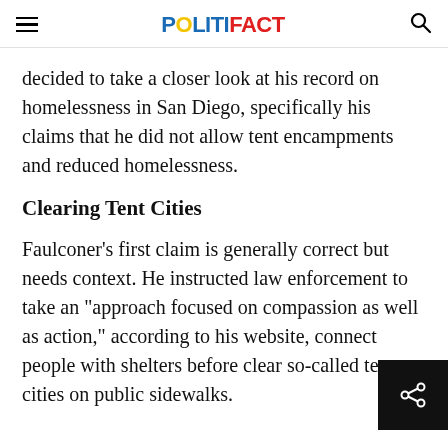POLITIFACT
decided to take a closer look at his record on homelessness in San Diego, specifically his claims that he did not allow tent encampments and reduced homelessness.
Clearing Tent Cities
Faulconer's first claim is generally correct but needs context. He instructed law enforcement to take an "approach focused on compassion as well as action," according to his website, connect people with shelters before clear so-called tent cities on public sidewalks.